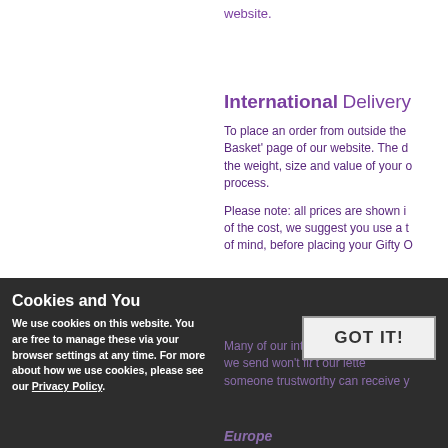website.
International Delivery
To place an order from outside the Basket' page of our website. The d the weight, size and value of your o process.
Please note: all prices are shown i of the cost, we suggest you use a t of mind, before placing your Gifty O
Many of our international delivery s we send won't fi t our lette someone trustworthy can receive y
Cookies and You
We use cookies on this website. You are free to manage these via your browser settings at any time. For more about how we use cookies, please see our Privacy Policy.
Europe